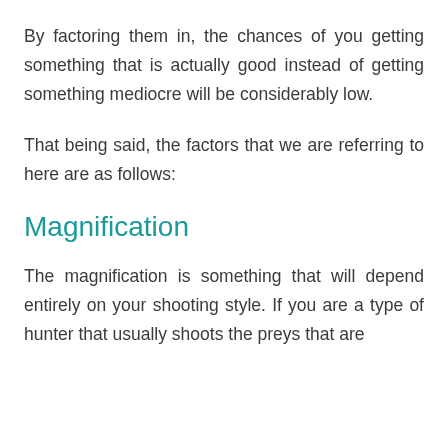By factoring them in, the chances of you getting something that is actually good instead of getting something mediocre will be considerably low.
That being said, the factors that we are referring to here are as follows:
Magnification
The magnification is something that will depend entirely on your shooting style. If you are a type of hunter that usually shoots the preys that are